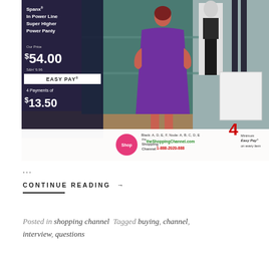[Figure (screenshot): Screenshot of a television shopping channel (The Shopping Channel) showing a model in a purple dress from behind, mannequins with shapewear on the right, and a price overlay on the left reading 'Spanx In Power Line Super Higher Power Panty, Our Price $54.00, S&H $6.96, EASY PAY, 4 Payments of $13.50'. Bottom bar shows the Shop logo, availability info (Black: A, D, E, F, Nude: A, B, C, D, E), theShoppingChannel.com, 1-888-2020-888, and '4 Minimum Easy Pay on every item'.]
...
CONTINUE READING →
Posted in shopping channel  Tagged buying, channel, interview, questions